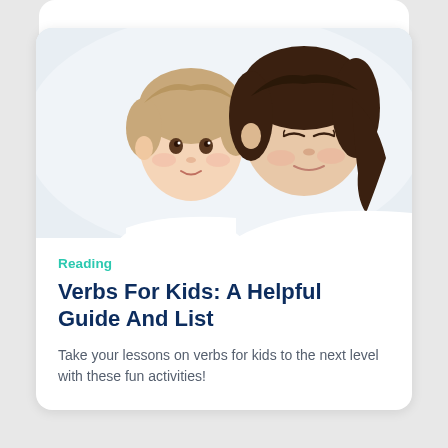[Figure (photo): A mother and young child with heads close together, both looking down, white background]
Reading
Verbs For Kids: A Helpful Guide And List
Take your lessons on verbs for kids to the next level with these fun activities!